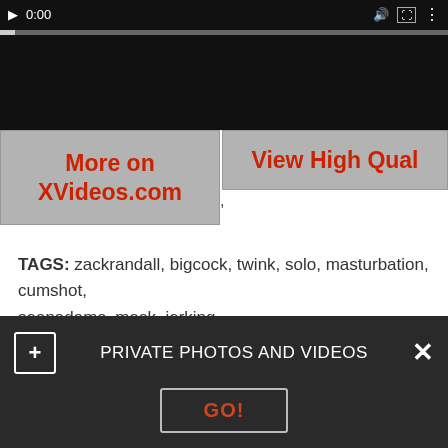[Figure (screenshot): Video player showing dark/black video frame with playback controls showing 0:00 timestamp and a gray progress bar]
More on XVideos.com
View High Qual
TAGS: zackrandall, bigcock, twink, solo, masturbation, cumshot, seanadams, mask, jerking
[Figure (photo): Partial thumbnail image at bottom of page]
PRIVATE PHOTOS AND VIDEOS
GO!